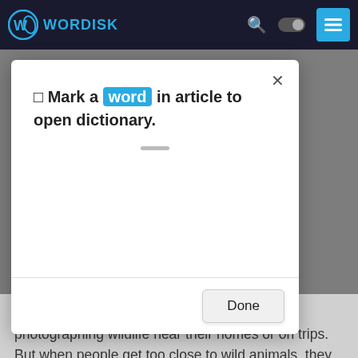WORDISK
[Figure (screenshot): Wordisk app navigation bar with logo, search icon, toggle, and menu button]
nal Park is a gerous and
Editor, The
Mark a word in article to open dictionary.
Millions of Americans enjoy observing and photographing wildlife near their homes or on trips. But when people get too close to wild animals, they risk serious injury or even death . It happens regularly, despite the threat of jail time and thousands of dollars in fines.